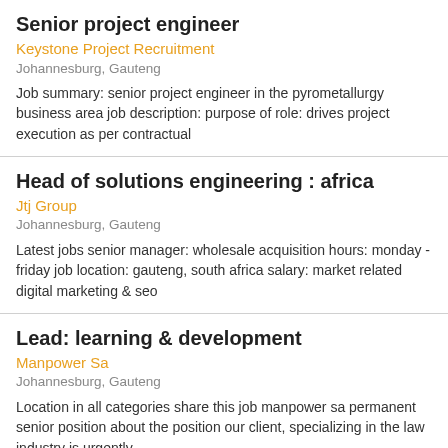Senior project engineer
Keystone Project Recruitment
Johannesburg, Gauteng
Job summary: senior project engineer in the pyrometallurgy business area job description: purpose of role: drives project execution as per contractual
Head of solutions engineering : africa
Jtj Group
Johannesburg, Gauteng
Latest jobs senior manager: wholesale acquisition hours: monday - friday job location: gauteng, south africa salary: market related digital marketing & seo
Lead: learning & development
Manpower Sa
Johannesburg, Gauteng
Location in all categories share this job manpower sa permanent senior position about the position our client, specializing in the law industry is urgently
Senior electrical engineer
Amec Foster Wheeler Plc
Johannesburg, Gauteng